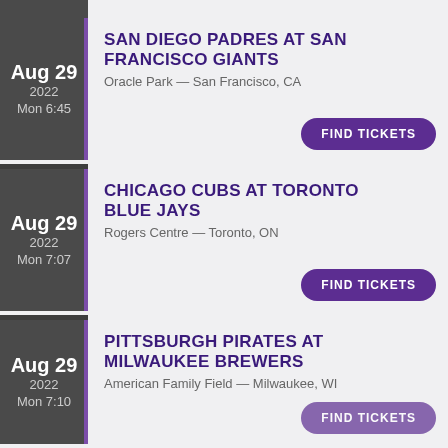Aug 29 2022 Mon 6:45 — SAN DIEGO PADRES AT SAN FRANCISCO GIANTS — Oracle Park — San Francisco, CA
Aug 29 2022 Mon 7:07 — CHICAGO CUBS AT TORONTO BLUE JAYS — Rogers Centre — Toronto, ON
Aug 29 2022 Mon 7:10 — PITTSBURGH PIRATES AT MILWAUKEE BREWERS — American Family Field — Milwaukee, WI